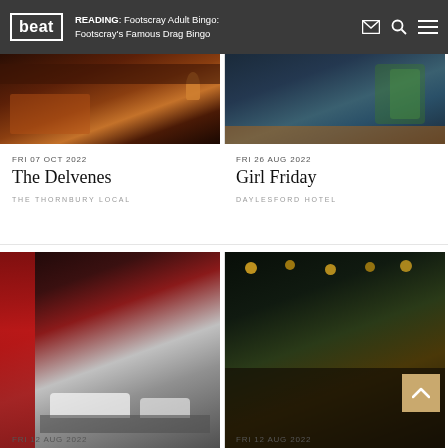beat | READING: Footscray Adult Bingo: Footscray's Famous Drag Bingo
[Figure (photo): Interior of a bar with warm lighting, bar counter visible]
FRI 07 OCT 2022
The Delvenes
THE THORNBURY LOCAL
[Figure (photo): Stained glass window in a hotel with colourful decorations]
FRI 26 AUG 2022
Girl Friday
DAYLESFORD HOTEL
[Figure (photo): Interior lounge room with red curtains and white sofas]
FRI 12 AUG 2022
[Figure (photo): Crowd of people in a dimly lit venue with warm hanging lights]